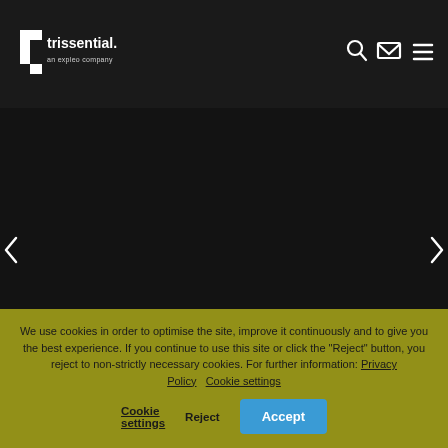[Figure (logo): Trissential logo — white text 'trissential.' with tagline 'an expleo company' on dark background, with angular white graphic mark]
[Figure (other): Navigation icons: search (magnifying glass), mail (envelope), hamburger menu — white icons on dark header]
Press Release – Expleo Signs Global Alliance with Siemens Digital Industries Software
We use cookies in order to optimise the site, improve it continuously and to give you the best experience. If you continue to use this site or click the "Reject" button, you reject to non-strictly necessary cookies. For further information: Privacy Policy   Cookie settings
Reject
Accept